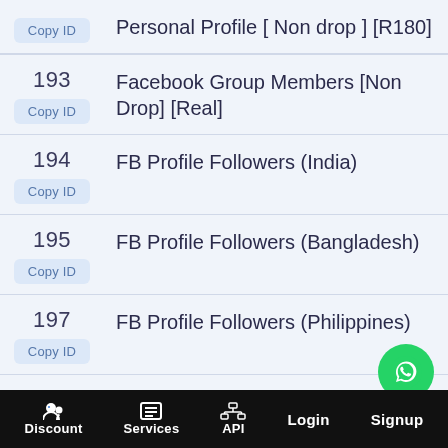Personal Profile [ Non drop ] [R180]
193 Facebook Group Members [Non Drop] [Real]
194 FB Profile Followers (India)
195 FB Profile Followers (Bangladesh)
197 FB Profile Followers (Philippines)
198 FB Profile Followers (Vietnam)
Discount  Services  API  Login  Signup